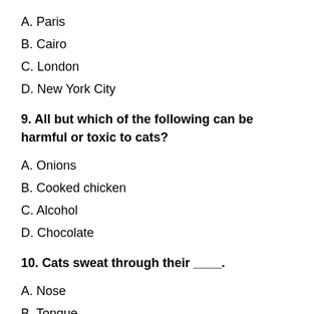A. Paris
B. Cairo
C. London
D. New York City
9. All but which of the following can be harmful or toxic to cats?
A. Onions
B. Cooked chicken
C. Alcohol
D. Chocolate
10. Cats sweat through their ____.
A. Nose
B. Tongue
C. Paws